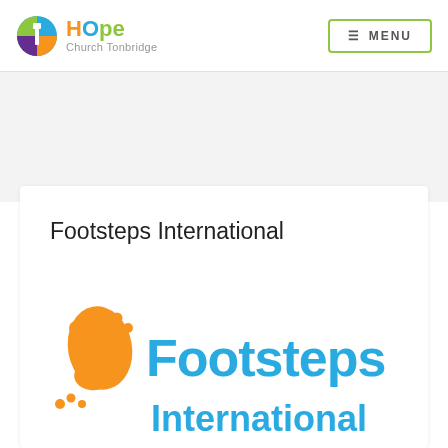HOPE Church Tonbridge | MENU
Footsteps International
[Figure (logo): Footsteps International logo with orange footprint icon and blue text reading 'Footsteps International']